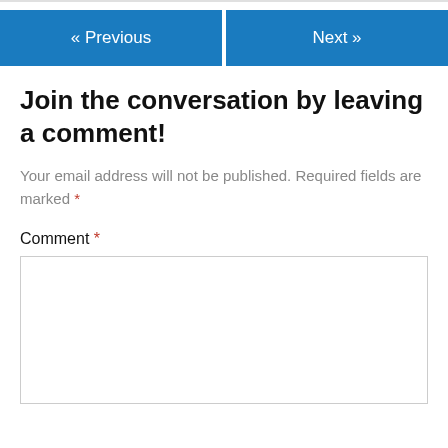[Figure (other): Navigation buttons: '« Previous' on the left (blue) and 'Next »' on the right (blue)]
Join the conversation by leaving a comment!
Your email address will not be published. Required fields are marked *
Comment *